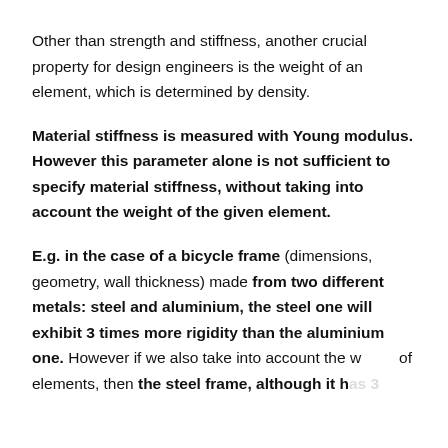Other than strength and stiffness, another crucial property for design engineers is the weight of an element, which is determined by density.
Material stiffness is measured with Young modulus. However this parameter alone is not sufficient to specify material stiffness, without taking into account the weight of the given element.
E.g. in the case of a bicycle frame (dimensions, geometry, wall thickness) made from two different metals: steel and aluminium, the steel one will exhibit 3 times more rigidity than the aluminium one. However if we also take into account the weight of elements, then the steel frame, although it has 3